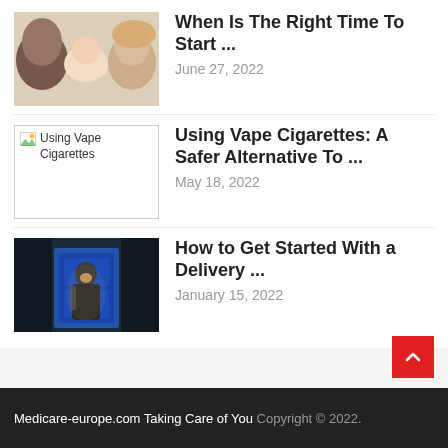[Figure (photo): Two adults and a baby lying down together, family photo]
When Is The Right Time To Start ...
June 27, 2022
[Figure (photo): Broken image placeholder labeled 'Using Vape Cigarettes']
Using Vape Cigarettes: A Safer Alternative To ...
May 18, 2022
[Figure (photo): Delivery person standing at a blue door, smiling]
How to Get Started With a Delivery ...
January 15, 2022
Medicare-europe.com Taking Care of You Copyright © 2022.